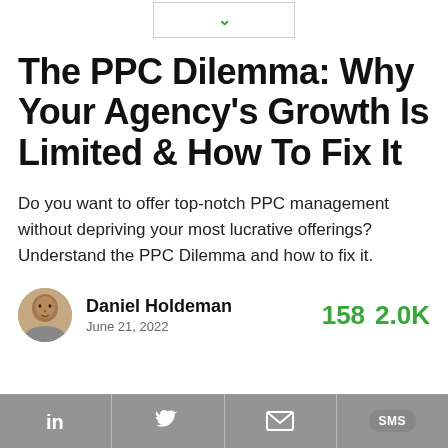[Figure (other): A dropdown widget box with a green chevron/arrow pointing downward]
The PPC Dilemma: Why Your Agency's Growth Is Limited & How To Fix It
Do you want to offer top-notch PPC management without depriving your most lucrative offerings? Understand the PPC Dilemma and how to fix it.
Daniel Holdeman
June 21, 2022
158  2.0K
[Figure (other): Social share bar with LinkedIn, Twitter, Email, and SMS buttons]